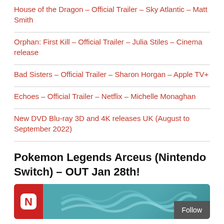House of the Dragon – Official Trailer – Sky Atlantic – Matt Smith
Orphan: First Kill – Official Trailer – Julia Stiles – Cinema release
Bad Sisters – Official Trailer – Sharon Horgan – Apple TV+
Echoes – Official Trailer – Netflix – Michelle Monaghan
New DVD Blu-ray 3D and 4K releases UK (August to September 2022)
Pokemon Legends Arceus (Nintendo Switch) – OUT Jan 28th!
[Figure (screenshot): Nintendo Switch game box art for Pokemon Legends Arceus showing the Nintendo logo on red background and teal wave artwork, with a Follow button overlay]